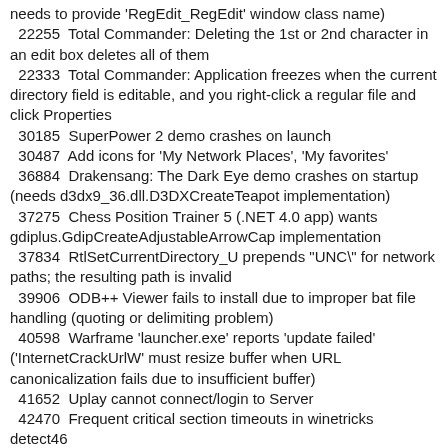needs to provide 'RegEdit_RegEdit' window class name)
22255  Total Commander: Deleting the 1st or 2nd character in an edit box deletes all of them
22333  Total Commander: Application freezes when the current directory field is editable, and you right-click a regular file and click Properties
30185  SuperPower 2 demo crashes on launch
30487  Add icons for 'My Network Places', 'My favorites'
36884  Drakensang: The Dark Eye demo crashes on startup (needs d3dx9_36.dll.D3DXCreateTeapot implementation)
37275  Chess Position Trainer 5 (.NET 4.0 app) wants gdiplus.GdipCreateAdjustableArrowCap implementation
37834  RtlSetCurrentDirectory_U prepends "UNC\" for network paths; the resulting path is invalid
39906  ODB++ Viewer fails to install due to improper bat file handling (quoting or delimiting problem)
40598  Warframe 'launcher.exe' reports 'update failed' ('InternetCrackUrlW' must resize buffer when URL canonicalization fails due to insufficient buffer)
41652  Uplay cannot connect/login to Server
42470  Frequent critical section timeouts in winetricks
detect46...